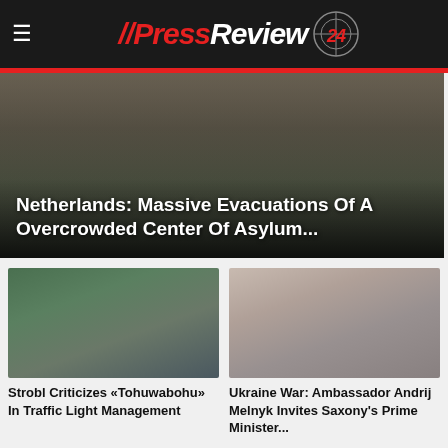// PressReview 24
[Figure (photo): People sitting/lying on ground, outdoor scene, hero image for asylum center article]
Netherlands: Massive Evacuations Of A Overcrowded Center Of Asylum...
[Figure (photo): Older man in suit speaking outdoors near greenery]
Strobl Criticizes «Tohuwabohu» In Traffic Light Management
[Figure (photo): Man with grey hair and glasses in suit, portrait]
Ukraine War: Ambassador Andrij Melnyk Invites Saxony's Prime Minister...
[Figure (photo): Man in golden/warm lit room, partial view]
[Figure (photo): Older man, partial view, light background]